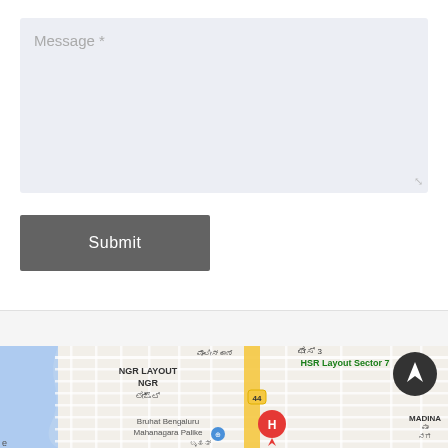Message *
Submit
[Figure (map): Google Maps showing NGR Layout, HSR Layout Sector 7, Bruhat Bengaluru Mahanagara Palike, and MADINA area in Bengaluru, India. Map shows road grid with a yellow highlighted road (44), a red location pin marked H, a dark circular navigation button with up arrow, and Kannada script labels including ಲೇಔಟ್, ಪೊಲೀಸ್ ಠಾಣೆ, ಫೇಸ್ 3, ಮಾ, ನಗ. Blue water area visible on left side.]